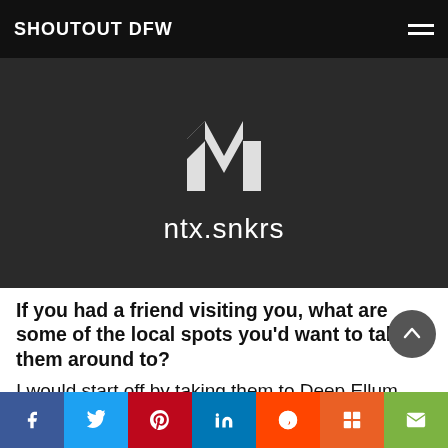SHOUTOUT DFW
[Figure (logo): Dark background with white stylized letter M logo mark above the text 'ntx.snkrs' in white sans-serif font]
If you had a friend visiting you, what are some of the local spots you'd want to take them around to?
I would start off by taking them to Deep Ellum. Deep Ellum has numerous food spots, bars, and a great view of the city, the people, and the